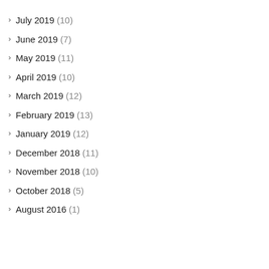> July 2019 (10)
> June 2019 (7)
> May 2019 (11)
> April 2019 (10)
> March 2019 (12)
> February 2019 (13)
> January 2019 (12)
> December 2018 (11)
> November 2018 (10)
> October 2018 (5)
> August 2016 (1)